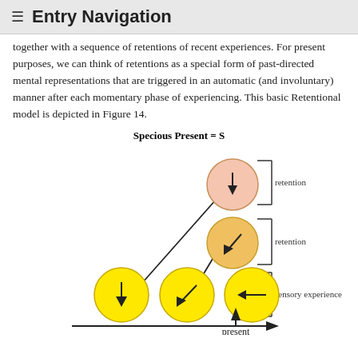≡ Entry Navigation
together with a sequence of retentions of recent experiences. For present purposes, we can think of retentions as a special form of past-directed mental representations that are triggered in an automatic (and involuntary) manner after each momentary phase of experiencing. This basic Retentional model is depicted in Figure 14.
[Figure (schematic): Diagram of the Retentional model showing circles representing sensory experiences (yellow) and retentions (pink/orange), arranged diagonally with arrows between them. A bracket on the right labels the top circle 'retention', the middle circle 'retention', and the bottom row 'sensory experience'. A horizontal arrow at the bottom labeled 'present' with an upward arrow indicates the present moment.]